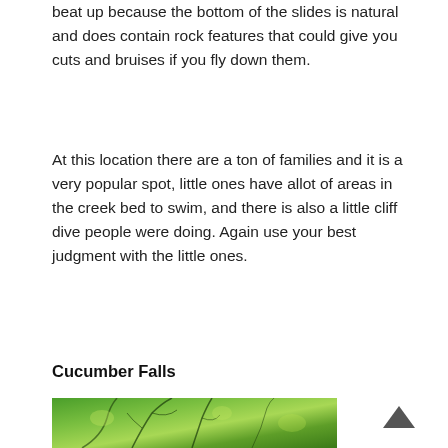beat up because the bottom of the slides is natural and does contain rock features that could give you cuts and bruises if you fly down them.
At this location there are a ton of families and it is a very popular spot, little ones have allot of areas in the creek bed to swim, and there is also a little cliff dive people were doing. Again use your best judgment with the little ones.
Cucumber Falls
[Figure (photo): Green leafy tree canopy with bright green foliage and visible dark branches against a lush forest background]